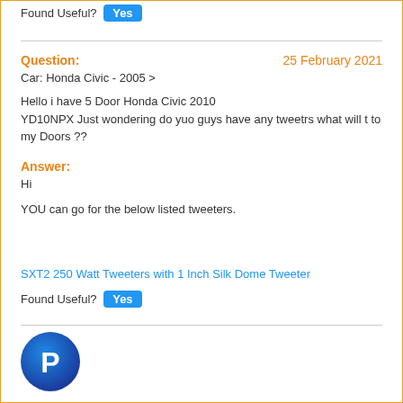Found Useful? Yes
Question: 25 February 2021
Car: Honda Civic - 2005 >

Hello i have 5 Door Honda Civic 2010
YD10NPX Just wondering do yuo guys have any tweetrs what will t to my Doors ??
Answer:
Hi

YOU can go for the below listed tweeters.
SXT2 250 Watt Tweeters with 1 Inch Silk Dome Tweeter
Found Useful? Yes
[Figure (logo): PayPal circular logo icon with blue gradient background and white P letter]